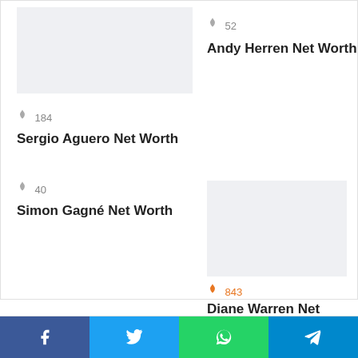[Figure (photo): Placeholder image top-left (light grey background)]
🔥 52
Andy Herren Net Worth
🔥 184
Sergio Aguero Net Worth
🔥 40
Simon Gagné Net Worth
[Figure (photo): Placeholder image bottom-right (light grey background)]
🔥 843
Diane Warren Net Worth
Leave a Reply